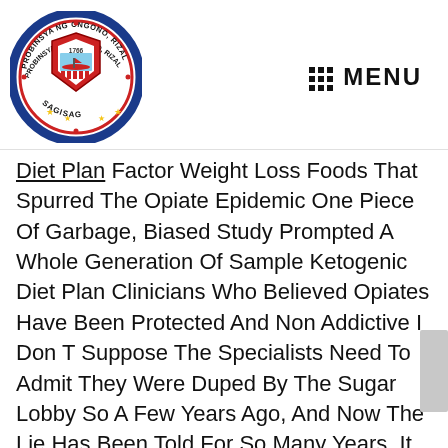[Figure (logo): Circular seal/logo of Probinsya ng Ongono, Rizal with text 'SAGISAG' at the bottom, featuring a shield emblem with the year 1766, surrounded by stars and decorative border in red and blue.]
MENU
Diet Plan Factor Weight Loss Foods That Spurred The Opiate Epidemic One Piece Of Garbage, Biased Study Prompted A Whole Generation Of Sample Ketogenic Diet Plan Clinicians Who Believed Opiates Have Been Protected And Non Addictive I Don T Suppose The Specialists Need To Admit They Were Duped By The Sugar Lobby So A Few Years Ago, And Now The Lie Has Been Told For So Many Years, It S Accepted As Actuality The Problem Is That Widespread Sense Just Isn T So Very Common Nowadays It Was Part Of Rising Human Neocortex Up To Now But For